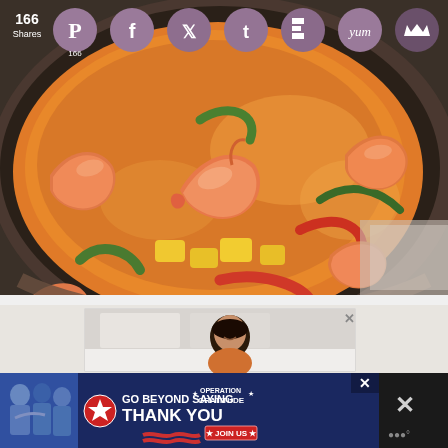[Figure (photo): Close-up photo of a pan of shrimp and vegetable curry with orange/red coconut milk sauce, mango chunks, red and green bell peppers, and large shrimp cooking in a dark pan]
[Figure (infographic): Social sharing bar overlay with 166 Shares count and circular social media buttons: Pinterest (166), Facebook, Twitter, Tumblr, Flipboard, Yummly, and crown/Feedly icon]
[Figure (photo): Advertisement block showing a smiling Asian woman in a kitchen setting]
[Figure (infographic): Bottom banner advertisement for Operation Gratitude: 'GO BEYOND SAYING THANK YOU' with JOIN US button, military/service people photo on left. Right side has close X button and menu dots icon.]